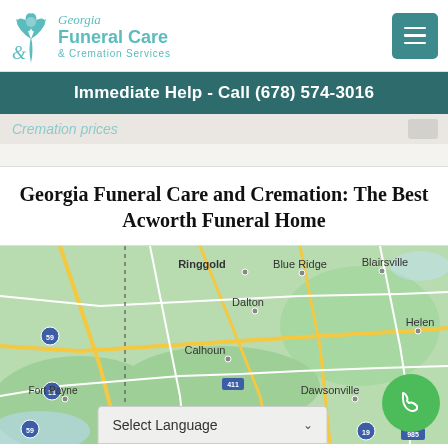[Figure (logo): Georgia Funeral Care & Cremation Services logo with teal leaf/flower icon]
Immediate Help - Call (678) 574-3016
Cremation prices
Georgia Funeral Care and Cremation: The Best Acworth Funeral Home
[Figure (map): Google Maps view showing northern Georgia region including Ringgold, Dalton, Blue Ridge, Blairsville, Helen, Calhoun, Fort Payne, Dawsonville with highways 59, 11, 411, 19, 985]
Select Language